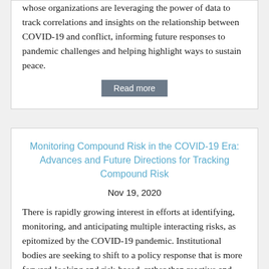whose organizations are leveraging the power of data to track correlations and insights on the relationship between COVID-19 and conflict, informing future responses to pandemic challenges and helping highlight ways to sustain peace.
Read more
Monitoring Compound Risk in the COVID-19 Era: Advances and Future Directions for Tracking Compound Risk
Nov 19, 2020
There is rapidly growing interest in efforts at identifying, monitoring, and anticipating multiple interacting risks, as epitomized by the COVID-19 pandemic. Institutional bodies are seeking to shift to a policy response that is more forward-looking and risk-based, rather than reactive and needs-based. This webinar, part of a joint series on compound global risk in the COVID-19 era, showcases